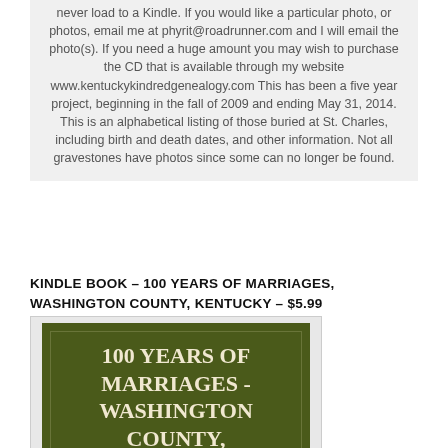never load to a Kindle. If you would like a particular photo, or photos, email me at phyrit@roadrunner.com and I will email the photo(s). If you need a huge amount you may wish to purchase the CD that is available through my website www.kentuckykindredgenealogy.com This has been a five year project, beginning in the fall of 2009 and ending May 31, 2014. This is an alphabetical listing of those buried at St. Charles, including birth and death dates, and other information. Not all gravestones have photos since some can no longer be found.
KINDLE BOOK – 100 YEARS OF MARRIAGES, WASHINGTON COUNTY, KENTUCKY – $5.99
[Figure (illustration): Book cover with dark olive/green background showing text '100 YEARS OF MARRIAGES - WASHINGTON COUNTY,' in cream/white serif font]